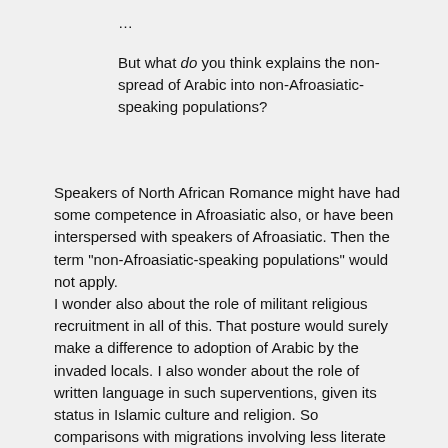…
But what do you think explains the non-spread of Arabic into non-Afroasiatic-speaking populations?
Speakers of North African Romance might have had some competence in Afroasiatic also, or have been interspersed with speakers of Afroasiatic. Then the term "non-Afroasiatic-speaking populations" would not apply.
I wonder also about the role of militant religious recruitment in all of this. That posture would surely make a difference to adoption of Arabic by the invaded locals. I also wonder about the role of written language in such superventions, given its status in Islamic culture and religion. So comparisons with migrations involving less literate cultures may not be so, um, germane.